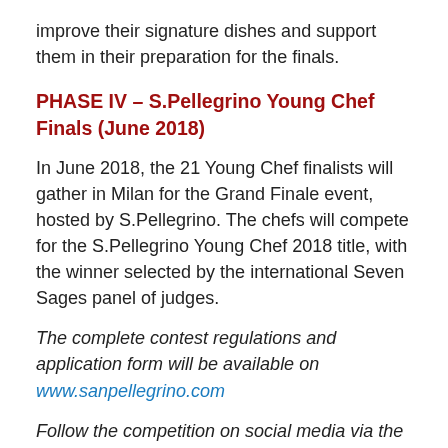improve their signature dishes and support them in their preparation for the finals.
PHASE IV – S.Pellegrino Young Chef Finals (June 2018)
In June 2018, the 21 Young Chef finalists will gather in Milan for the Grand Finale event, hosted by S.Pellegrino. The chefs will compete for the S.Pellegrino Young Chef 2018 title, with the winner selected by the international Seven Sages panel of judges.
The complete contest regulations and application form will be available on www.sanpellegrino.com
Follow the competition on social media via the hashtag #SPYoungChef.